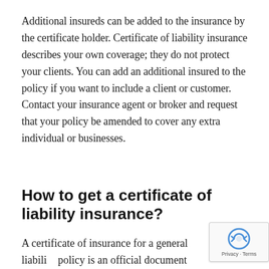Additional insureds can be added to the insurance by the certificate holder. Certificate of liability insurance describes your own coverage; they do not protect your clients. You can add an additional insured to the policy if you want to include a client or customer. Contact your insurance agent or broker and request that your policy be amended to cover any extra individual or businesses.
How to get a certificate of liability insurance?
A certificate of insurance for a general liability policy is an official document that details all of